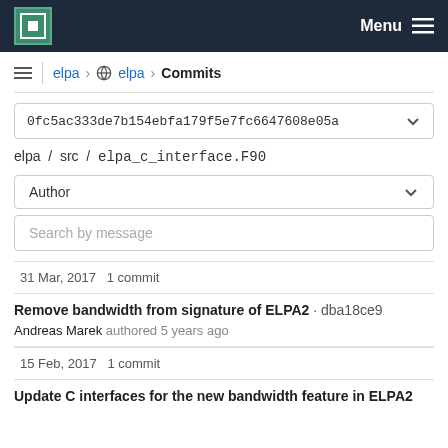MPCDF Menu
elpa > elpa > Commits
0fc5ac333de7b154ebfa179f5e7fc6647608e05a
elpa / src / elpa_c_interface.F90
Author
Search by message
31 Mar, 2017 1 commit
Remove bandwidth from signature of ELPA2 · dba18ce9
Andreas Marek authored 5 years ago
15 Feb, 2017 1 commit
Update C interfaces for the new bandwidth feature in ELPA2